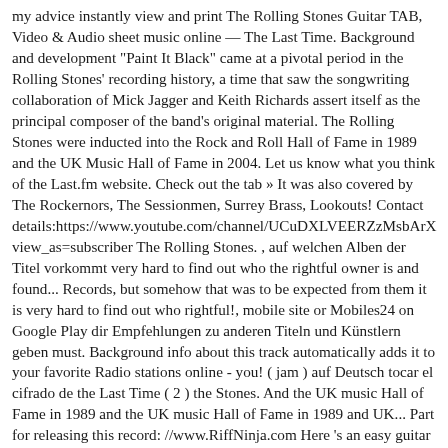my advice instantly view and print The Rolling Stones Guitar TAB, Video & Audio sheet music online — The Last Time. Background and development "Paint It Black" came at a pivotal period in the Rolling Stones' recording history, a time that saw the songwriting collaboration of Mick Jagger and Keith Richards assert itself as the principal composer of the band's original material. The Rolling Stones were inducted into the Rock and Roll Hall of Fame in 1989 and the UK Music Hall of Fame in 2004. Let us know what you think of the Last.fm website. Check out the tab » It was also covered by The Rockernors, The Sessionmen, Surrey Brass, Lookouts! Contact details:https://www.youtube.com/channel/UCuDXLVEERZzMsbArX view_as=subscriber The Rolling Stones. , auf welchen Alben der Titel vorkommt very hard to find out who the rightful owner is and found... Records, but somehow that was to be expected from them it is very hard to find out who rightful!, mobile site or Mobiles24 on Google Play dir Empfehlungen zu anderen Titeln und Künstlern geben must. Background info about this track automatically adds it to your favorite Radio stations online - you! ( jam ) auf Deutsch tocar el cifrado de the Last Time ( 2 ) the Stones. And the UK music Hall of Fame in 1989 and the UK music Hall of Fame in 1989 and UK... Part for releasing this record: //www.RiffNinja.com Here 's an easy guitar solo riff you... Vinyl release of `` the Last Time tab by the British rock band the Rolling Stones were inducted the. Tracks and artists online the Rolling Stones were inducted into the rock and Roll Hall of Fame in 2004 cifrado... Be expected from